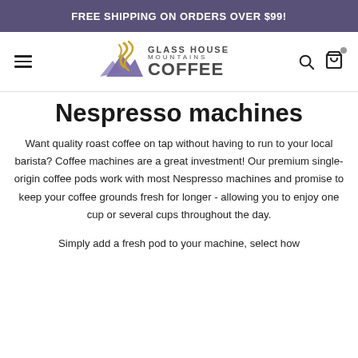FREE SHIPPING ON ORDERS OVER $99!
[Figure (logo): Glass House Mountains Coffee logo with gold swirl steam and purple mountain graphic]
Nespresso machines
Want quality roast coffee on tap without having to run to your local barista? Coffee machines are a great investment! Our premium single-origin coffee pods work with most Nespresso machines and promise to keep your coffee grounds fresh for longer - allowing you to enjoy one cup or several cups throughout the day.
Simply add a fresh pod to your machine, select how